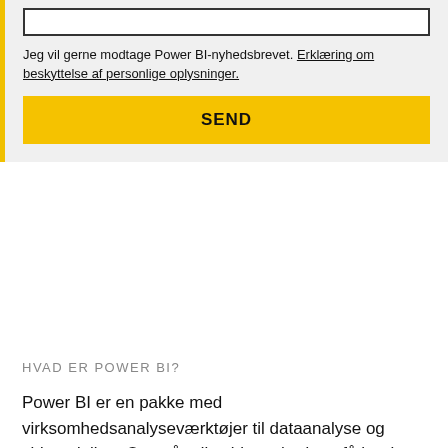Jeg vil gerne modtage Power BI-nyhedsbrevet. Erklæring om beskyttelse af personlige oplysninger.
SEND
HVAD ER POWER BI?
Power BI er en pakke med virksomhedsanalyseværktøjer til dataanalyse og vidensdeling. Overvåg din virksomhed, og få hurtigt svar med omfattende dashboards, der er